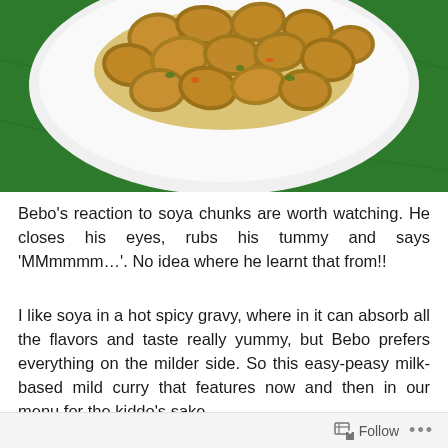[Figure (photo): A white plate with golden-brown soya chunks in curry sauce on a green cloth background]
Bebo's reaction to soya chunks are worth watching. He closes his eyes, rubs his tummy and says 'MMmmmm…'. No idea where he learnt that from!!
I like soya in a hot spicy gravy, where in it can absorb all the flavors and taste really yummy, but Bebo prefers everything on the milder side. So this easy-peasy milk-based mild curry that features now and then in our menu for the kiddo's sake.
Follow ...